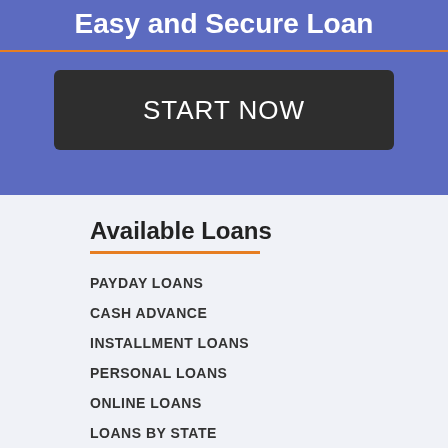Easy and Secure Loan
START NOW
Available Loans
PAYDAY LOANS
CASH ADVANCE
INSTALLMENT LOANS
PERSONAL LOANS
ONLINE LOANS
LOANS BY STATE